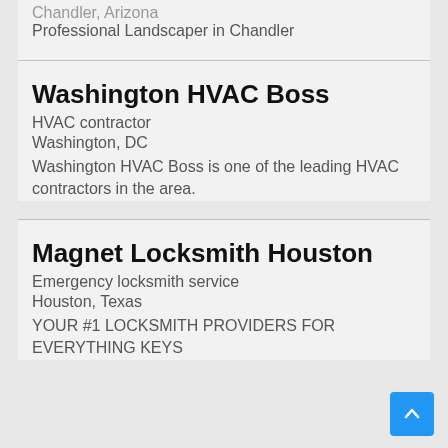Chandler, Arizona
Professional Landscaper in Chandler
Washington HVAC Boss
HVAC contractor
Washington, DC
Washington HVAC Boss is one of the leading HVAC contractors in the area.
Magnet Locksmith Houston
Emergency locksmith service
Houston, Texas
YOUR #1 LOCKSMITH PROVIDERS FOR EVERYTHING KEYS